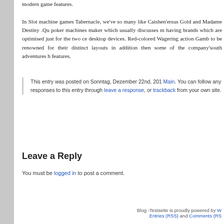modern game features. In Slot machine games Tabernacle, we've so many like Caishen'ersus Gold and Madame Destiny .Qu poker machines maker which usually discusses m having brands which are optimised just for the two ce desktop devices. Red-colored Wagering action Gamb to be renowned for their distinct layouts in addition then some of the company'south adventures h features.
This entry was posted on Sonntag, Dezember 22nd, 201 Main. You can follow any responses to this entry through leave a response, or trackback from your own site.
Leave a Reply
You must be logged in to post a comment.
Blog -Testseite is proudly powered by W Entries (RSS) and Comments (RS